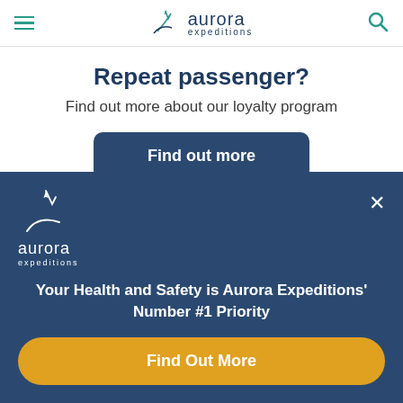aurora expeditions
Repeat passenger?
Find out more about our loyalty program
Find out more
Solo Traveller?
[Figure (logo): Aurora Expeditions logo with star icon, white text on dark blue background]
Your Health and Safety is Aurora Expeditions' Number #1 Priority
Find Out More